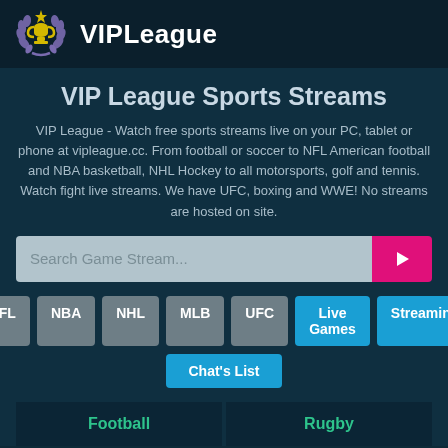VIPLeague
VIP League Sports Streams
VIP League - Watch free sports streams live on your PC, tablet or phone at vipleague.cc. From football or soccer to NFL American football and NBA basketball, NHL Hockey to all motorsports, golf and tennis. Watch fight live streams. We have UFC, boxing and WWE! No streams are hosted on site.
[Figure (screenshot): Search input box with placeholder 'Search Game Stream...' and a pink/magenta search button with arrow icon]
NFL
NBA
NHL
MLB
UFC
Live Games
Streaming
Chat's List
Football
Rugby